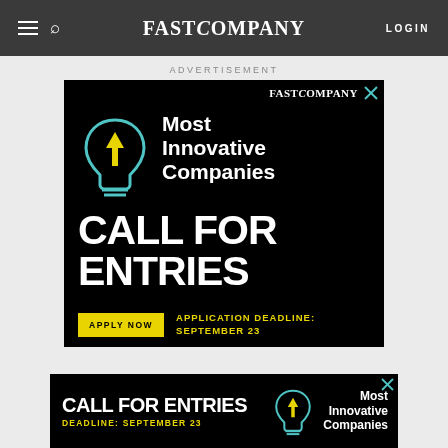FAST COMPANY  LOGIN
ADVERTISEMENT
[Figure (illustration): Fast Company Most Innovative Companies advertisement banner. Black background with a cyan/blue lightbulb icon with yellow arrow, text: Most Innovative Companies, CALL FOR ENTRIES, APPLY NOW button, APPLICATION DEADLINE: SEPTEMBER 23]
[Figure (illustration): Bottom strip advertisement: CALL FOR ENTRIES Most Innovative Companies DEADLINE: SEPTEMBER 23 with lightbulb icon]